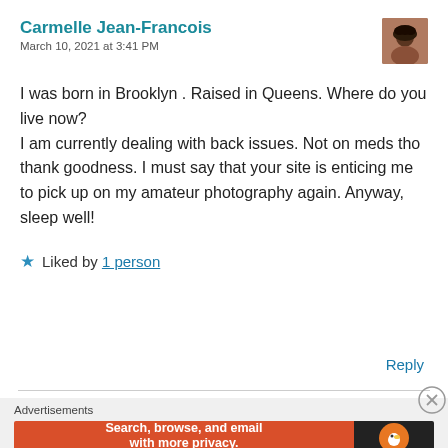Carmelle Jean-Francois
March 10, 2021 at 3:41 PM
[Figure (photo): Avatar photo of Carmelle Jean-Francois, a woman with natural hair]
I was born in Brooklyn . Raised in Queens. Where do you live now?
I am currently dealing with back issues. Not on meds tho thank goodness. I must say that your site is enticing me to pick up on my amateur photography again. Anyway, sleep well!
★ Liked by 1 person
Reply
Advertisements
[Figure (screenshot): DuckDuckGo advertisement banner: 'Search, browse, and email with more privacy. All in One Free App' with DuckDuckGo logo on dark background]